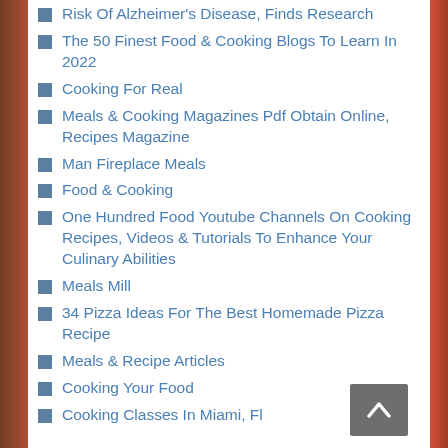Risk Of Alzheimer's Disease, Finds Research
The 50 Finest Food & Cooking Blogs To Learn In 2022
Cooking For Real
Meals & Cooking Magazines Pdf Obtain Online, Recipes Magazine
Man Fireplace Meals
Food & Cooking
One Hundred Food Youtube Channels On Cooking Recipes, Videos & Tutorials To Enhance Your Culinary Abilities
Meals Mill
34 Pizza Ideas For The Best Homemade Pizza Recipe
Meals & Recipe Articles
Cooking Your Food
Cooking Classes In Miami, Fl